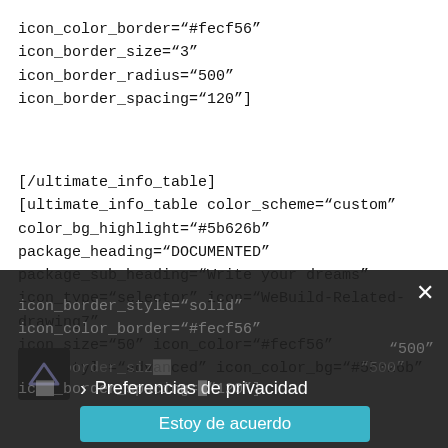icon_color_border="#fecf56" icon_border_size="3" icon_border_radius="500" icon_border_spacing="120"]
[/ultimate_info_table]
[ultimate_info_table color_scheme="custom"
color_bg_highlight="#5b626b"
package_heading="DOCUMENTED"
package_sub_heading="Write your dreams"
icon_type="selector" icon="WeBuild-Related-drawing7"
icon_size="50" icon_color="#fecf56"
icon_style="advanced" icon_color_bg="#5b626b"
icon_border_style="solid" icon_color_border="#fecf56"
icon_border_size="500"
icon_border_spacing="120"]
[Figure (screenshot): Cookie/privacy consent overlay in dark background with 'Preferencias de privacidad' label, a chevron icon, 'Estoy de acuerdo' button in teal, and an X close button.]